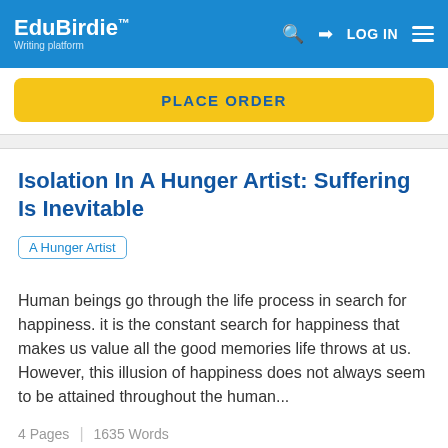EduBirdie™ Writing platform | LOG IN
[Figure (other): Yellow 'PLACE ORDER' button on white background]
Isolation In A Hunger Artist: Suffering Is Inevitable
A Hunger Artist
Human beings go through the life process in search for happiness. it is the constant search for happiness that makes us value all the good memories life throws at us. However, this illusion of happiness does not always seem to be attained throughout the human...
4 Pages | 1635 Words